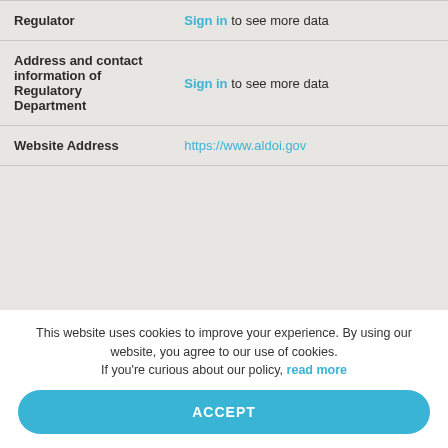| Field | Value |
| --- | --- |
| Regulator | Sign in to see more data |
| Address and contact information of Regulatory Department | Sign in to see more data |
| Website Address | https://www.aldoi.gov |
This website uses cookies to improve your experience. By using our website, you agree to our use of cookies. If you're curious about our policy, read more